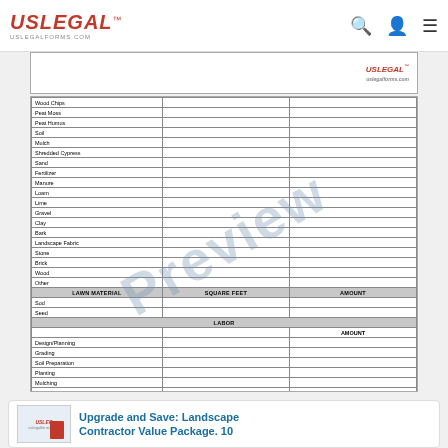USLEGAL uslegalforms.com
|  |  |  |
| --- | --- | --- |
| Wood Chips |  |  |
| Peat Moss |  |  |
| Peat Humus |  |  |
| Soil |  |  |
| Mulch |  |  |
| Shredded Cypress |  |  |
| Sand |  |  |
| Fertilizer |  |  |
| Manure |  |  |
| Loam |  |  |
| Lime |  |  |
| Gravel |  |  |
| Clay |  |  |
| Bark |  |  |
| Landscape Fabric |  |  |
| Stone |  |  |
| Brick |  |  |
| Wood |  |  |
| Other |  |  |
| LAWN MATERIAL | SQUARE FEET | AMOUNT |
| Sod |  |  |
| Seed |  |  |
| LABOR |  |  |
|  |  | AMOUNT |
| Design/Planning |  |  |
| Grading |  |  |
| Soil Preparation |  |  |
| Planting |  |  |
| Mulching |  |  |
| Edging and Borders |  |  |
| Pruning |  |  |
| Fertilizing |  |  |
| Sodding |  |  |
Upgrade and Save: Landscape Contractor Value Package. 10